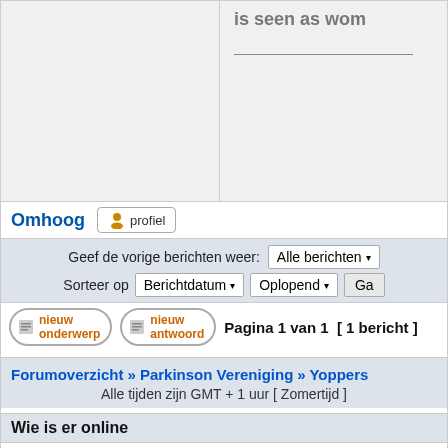[Figure (screenshot): Top portion of a Dutch forum page showing grey content area with a horizontal separator line]
Omhoog
[Figure (screenshot): Profiel button with user icon]
Geef de vorige berichten weer: Alle berichten
Sorteer op Berichtdatum Oplopend Ga
nieuw onderwerp   nieuw antwoord   Pagina 1 van 1  [ 1 bericht ]
Forumoverzicht » Parkinson Vereniging » Yoppers
Alle tijden zijn GMT + 1 uur [ Zomertijd ]
Wie is er online
Gebruikers op dit forum: Geen geregistreerde gebruikers. en 1 gast